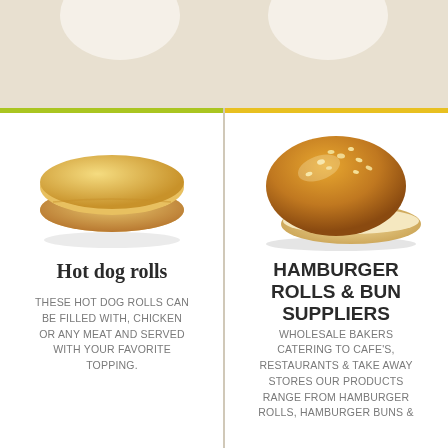[Figure (photo): Hot dog roll / bun, elongated, light golden color, split open, photographed on white background]
Hot dog rolls
THESE HOT DOG ROLLS CAN BE FILLED WITH, CHICKEN OR ANY MEAT AND SERVED WITH YOUR FAVORITE TOPPING.
[Figure (photo): Sesame seed hamburger bun, golden brown with sesame seeds on top, split open showing bottom half, photographed on white background]
HAMBURGER ROLLS & BUN SUPPLIERS
WHOLESALE BAKERS CATERING TO CAFE'S, RESTAURANTS & TAKE AWAY STORES OUR PRODUCTS RANGE FROM HAMBURGER ROLLS, HAMBURGER BUNS &